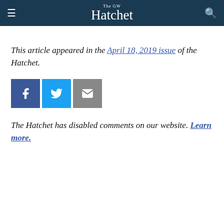The GW Hatchet
This article appeared in the April 18, 2019 issue of the Hatchet.
[Figure (other): Social share buttons: Facebook, Twitter, Email]
The Hatchet has disabled comments on our website. Learn more.